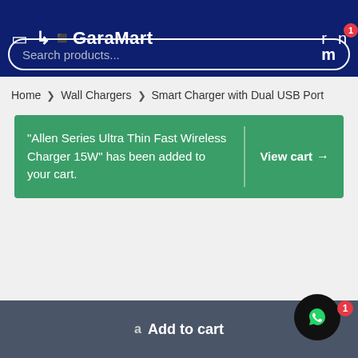GaraMart - Search products...
Home > Wall Chargers > Smart Charger with Dual USB Port
"Allen Series Ultra Thin Fast Wireless Charger 15W" has been added to your cart. View cart →
a Add to cart